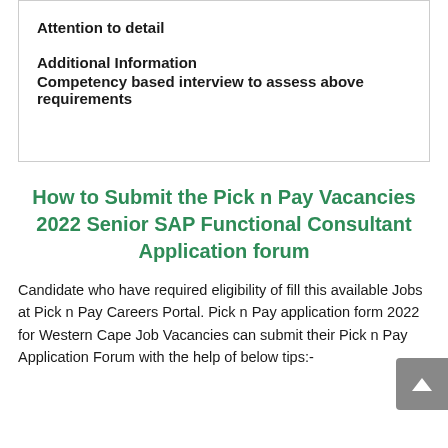Attention to detail
Additional Information
Competency based interview to assess above requirements
How to Submit the Pick n Pay Vacancies 2022 Senior SAP Functional Consultant Application forum
Candidate who have required eligibility of fill this available Jobs at Pick n Pay Careers Portal. Pick n Pay application form 2022 for Western Cape Job Vacancies can submit their Pick n Pay Application Forum with the help of below tips:-